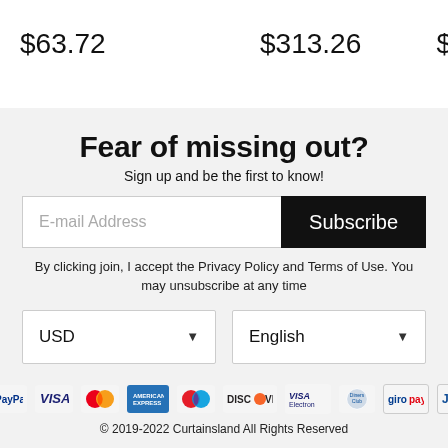$63.72    $313.26    $
Fear of missing out?
Sign up and be the first to know!
E-mail Address
Subscribe
By clicking join, I accept the Privacy Policy and Terms of Use. You may unsubscribe at any time
USD
English
[Figure (logo): Payment method logos: PayPal, VISA, Mastercard, American Express, Maestro, Discover, VISA Electron, Diners Club, giropay, JCB]
© 2019-2022 Curtainsland All Rights Reserved